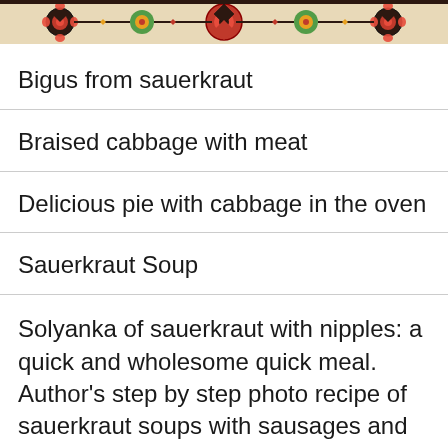[Figure (illustration): Decorative folk art pattern banner at top of page with colorful embroidery-style ornamental design]
Bigus from sauerkraut
Braised cabbage with meat
Delicious pie with cabbage in the oven
Sauerkraut Soup
Solyanka of sauerkraut with nipples: a quick and wholesome quick meal. Author's step by step photo recipe of sauerkraut soups with sausages and pickles